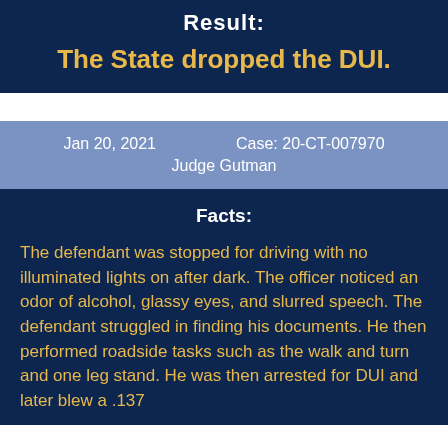Result:
The State dropped the DUI.
Jan 20, 2021    Case: 20-CT-007970    Judge Gutman
Facts:
The defendant was stopped for driving with no illuminated lights on after dark. The officer noticed an odor of alcohol, glassy eyes, and slurred speech. The defendant struggled in finding his documents. He then performed roadside tasks such as the walk and turn and one leg stand. He was then arrested for DUI and later blew a .137